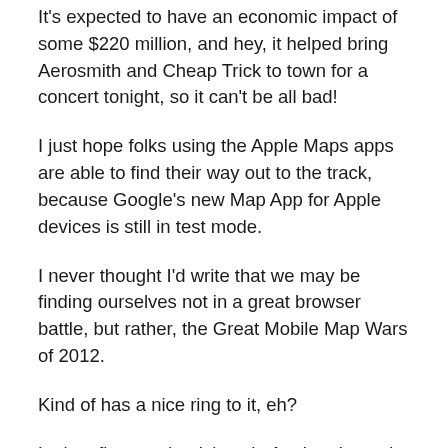It's expected to have an economic impact of some $220 million, and hey, it helped bring Aerosmith and Cheap Trick to town for a concert tonight, so it can't be all bad!
I just hope folks using the Apple Maps apps are able to find their way out to the track, because Google's new Map App for Apple devices is still in test mode.
I never thought I'd write that we may be finding ourselves not in a great browser battle, but rather, the Great Mobile Map Wars of 2012.
Kind of has a nice ring to it, eh?
Let's reflect on the tick tock: Apple released the new iOS 6, in which it replaced the Google Maps app that was preinstalled with its own mapping software.
People complained they couldn't get where they were